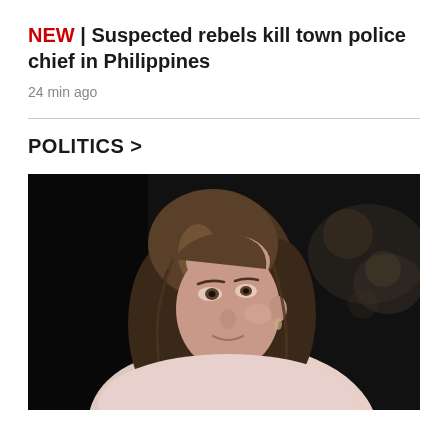NEW | Suspected rebels kill town police chief in Philippines
24 min ago
POLITICS >
[Figure (photo): Portrait photo of a woman with long brown hair looking upward to the left, wearing a light pink top, dark background with blurred lights]